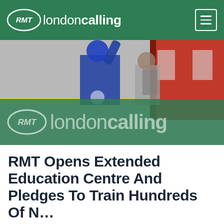RMT londoncalling
[Figure (photo): Railway platform scene with a worker in blue uniform raising their hand beside a red train. RMT londoncalling logo overlaid on a dark green banner at the bottom of the photo.]
RMT Opens Extended Education Centre And Pledges To Train Hundreds Of N...